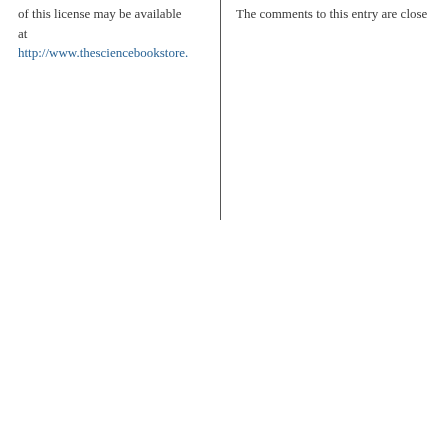of this license may be available at http://www.thesciencebookstore.
The comments to this entry are close